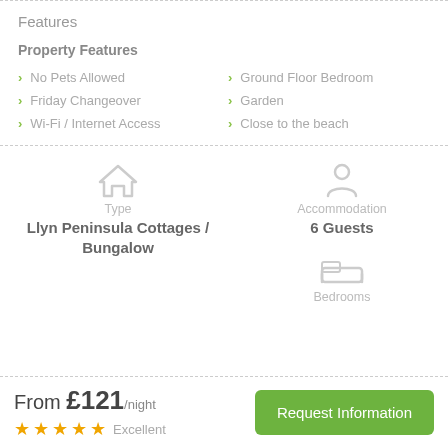Features
Property Features
No Pets Allowed
Ground Floor Bedroom
Friday Changeover
Garden
Wi-Fi / Internet Access
Close to the beach
Type
Llyn Peninsula Cottages / Bungalow
Accommodation
6 Guests
Bedrooms
From £121/night
★★★★★ Excellent
Request Information